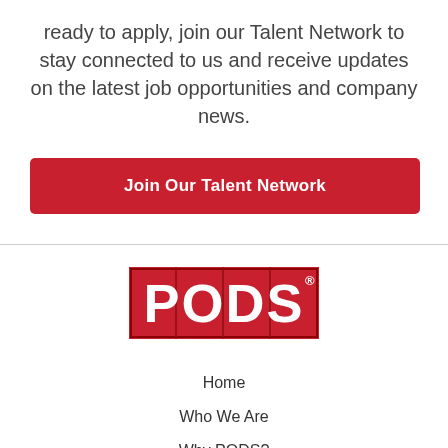ready to apply, join our Talent Network to stay connected to us and receive updates on the latest job opportunities and company news.
Join Our Talent Network
[Figure (logo): PODS logo — white bold text on red rectangle background with dark border]
Home
Who We Are
Why PODS?
Sales & Service